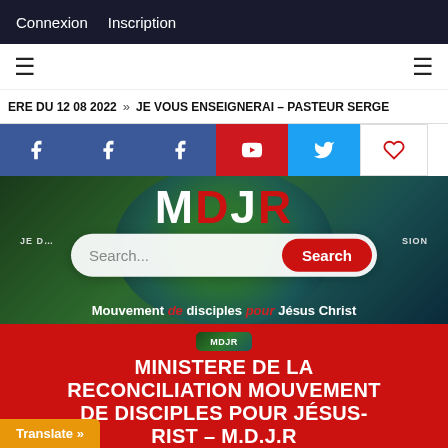Connexion  Inscription
≡  ≡
ERE DU 12 08 2022  »  JE VOUS ENSEIGNERAI – PASTEUR SERGE
[Figure (screenshot): Social media share buttons: Facebook (x3), YouTube, Twitter, Heart/like button]
[Figure (screenshot): Hero banner with MDJR logo letters, search bar overlay, and tagline 'Mouvement de disciples pour Jésus Christ']
[Figure (logo): MDJR small logo icon]
MINISTERE DE LA RECONCILIATION MOUVEMENT DE DISCIPLES POUR JÉSUS-CHRIST – M.D.J.R
Translate »